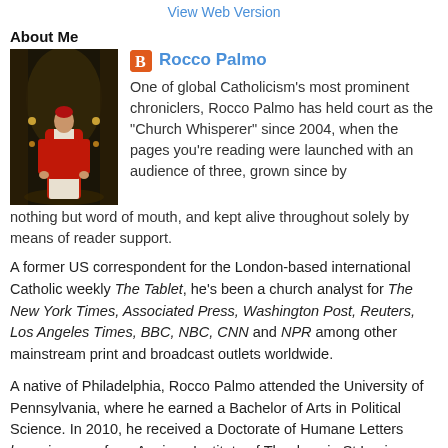View Web Version
About Me
[Figure (photo): Profile photo of Rocco Palmo, a person in red and white robes standing in a grand interior space with arches and warm lighting]
Rocco Palmo
One of global Catholicism's most prominent chroniclers, Rocco Palmo has held court as the "Church Whisperer" since 2004, when the pages you're reading were launched with an audience of three, grown since by nothing but word of mouth, and kept alive throughout solely by means of reader support.
A former US correspondent for the London-based international Catholic weekly The Tablet, he's been a church analyst for The New York Times, Associated Press, Washington Post, Reuters, Los Angeles Times, BBC, NBC, CNN and NPR among other mainstream print and broadcast outlets worldwide.
A native of Philadelphia, Rocco Palmo attended the University of Pennsylvania, where he earned a Bachelor of Arts in Political Science. In 2010, he received a Doctorate of Humane Letters honoris causa from Aquinas Institute of Theology in St Louis.
In 2011, Palmo co-chaired the first Vatican conference on social